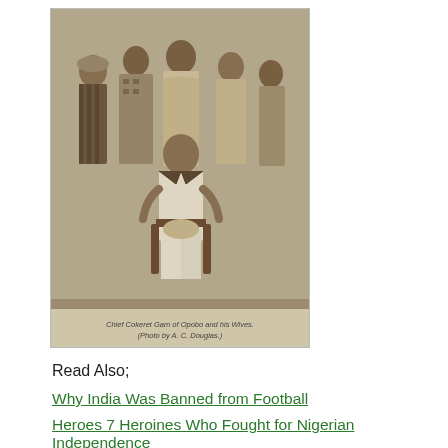[Figure (photo): Black and white historical photograph of Chief Cokeret Gam of Opobo and his wives, seated and standing group portrait. Caption reads: CHIEF COKERET GAM OF OPOBO AND HIS WIVES. (Photo by A. C. Douglas.)]
Read Also;
Why India Was Banned from Football
Heroes 7 Heroines Who Fought for Nigerian Independence
Conclusion: The Legendary History of King Jaja of Opobo
In conclusion, King Jaja of Opobo is one of the most prominent heroes in Nigeria and his legacy will forever live in